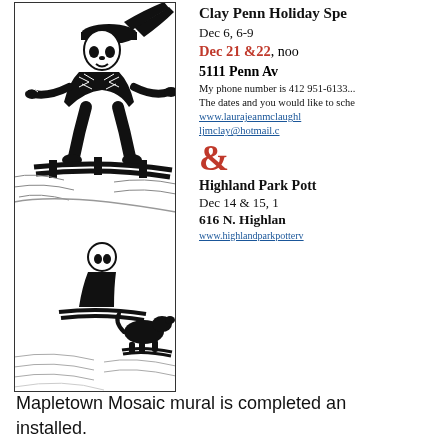[Figure (illustration): Black and white woodcut/linocut style illustration of figures sledding down a snowy hill, with a dog also sledding.]
Clay Penn Holiday Spe...
Dec 6, 6-9...
Dec 21 &22, noo...
5111 Penn Av...
My phone number is 412 951-6133...
The dates and you would like to sche...
www.laurajeanmclaughl...
ljmclay@hotmail.c...
&
Highland Park Pott...
Dec 14 & 15, 1...
616 N. Highlan...
www.highlandparkpotterv...
Mapletown Mosaic mural is completed an... installed.